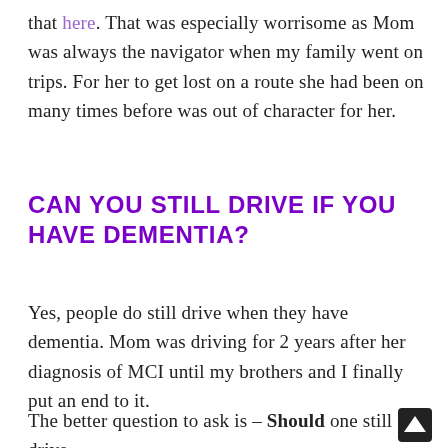that here. That was especially worrisome as Mom was always the navigator when my family went on trips. For her to get lost on a route she had been on many times before was out of character for her.
CAN YOU STILL DRIVE IF YOU HAVE DEMENTIA?
Yes, people do still drive when they have dementia. Mom was driving for 2 years after her diagnosis of MCI until my brothers and I finally put an end to it.
The better question to ask is – Should one still drive